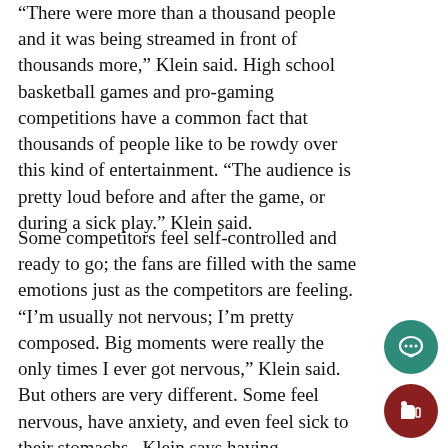“There were more than a thousand people and it was being streamed in front of thousands more,” Klein said. High school basketball games and pro-gaming competitions have a common fact that thousands of people like to be rowdy over this kind of entertainment. “The audience is pretty loud before and after the game, or during a sick play.” Klein said.
Some competitors feel self-controlled and ready to go; the fans are filled with the same emotions just as the competitors are feeling. “I’m usually not nervous; I’m pretty composed. Big moments were really the only times I ever got nervous,” Klein said. But others are very different. Some feel nervous, have anxiety, and even feel sick to their stomachs. Klein says having confidence and knowledge in the game is key to his success in the games he plays. The outcome of the game has the audience speechless with exhilaration.